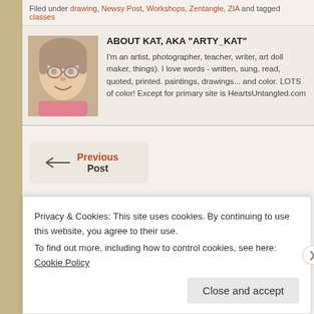Filed under drawing, Newsy Post, Workshops, Zentangle, ZIA and tagged classes
ABOUT KAT, AKA "ARTY_KAT"
I'm an artist, photographer, teacher, writer, art doll maker, things). I love words - written, sung, read, quoted, printed. paintings, drawings... and color. LOTS of color! Except for primary site is HeartsUntangled.com
[Figure (photo): Portrait photo of Kat, a woman with glasses and light-colored shirt]
Previous Post
Privacy & Cookies: This site uses cookies. By continuing to use this website, you agree to their use.
To find out more, including how to control cookies, see here: Cookie Policy
Close and accept